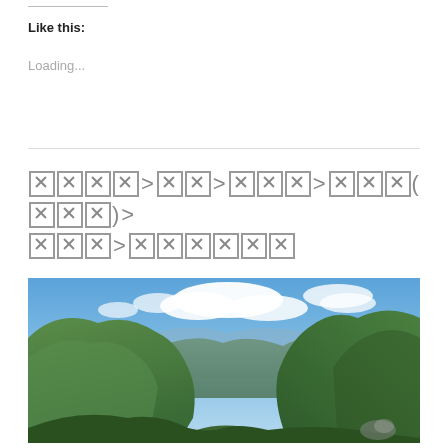Like this:
Loading...
XXXX>XX>XXX>XXX(XXX)>XXX>XXXXXX
[Figure (photo): Panoramic mountain landscape with green forested hills and valleys under a blue sky with white clouds]